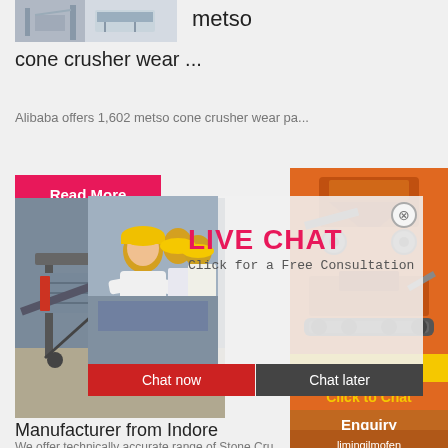[Figure (photo): Industrial equipment/crusher facility image at top left]
metso
cone crusher wear ...
Alibaba offers 1,602 metso cone crusher wear pa...
[Figure (photo): Live chat popup with workers in hard hats and LIVE CHAT heading, Chat now and Chat later buttons]
[Figure (photo): Orange sidebar with crusher machine images, Enjoy 3% discount, Click to Chat, Enquiry, limingjlmofen@sina.com]
[Figure (photo): Stone crusher/vibrating screen machine on ground - Manufacturer from Indore]
Manufacturer from Indore
We offer technically accurate range of Stone Cru...